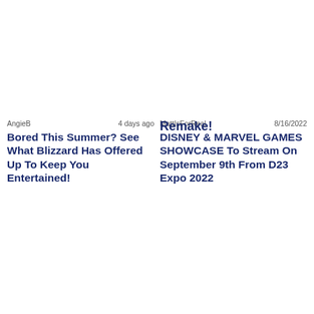Remake!
AngieB   4 days ago
Bored This Summer? See What Blizzard Has Offered Up To Keep You Entertained!
MattIsForReal   8/16/2022
DISNEY & MARVEL GAMES SHOWCASE To Stream On September 9th From D23 Expo 2022